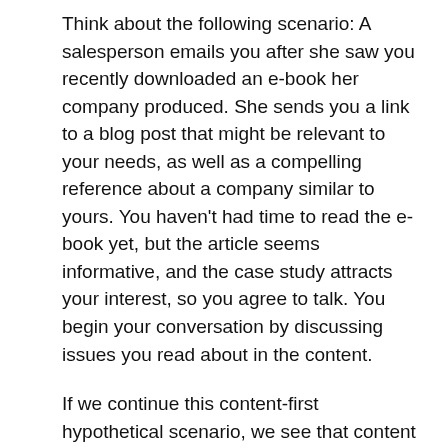Think about the following scenario: A salesperson emails you after she saw you recently downloaded an e-book her company produced. She sends you a link to a blog post that might be relevant to your needs, as well as a compelling reference about a company similar to yours. You haven't had time to read the e-book yet, but the article seems informative, and the case study attracts your interest, so you agree to talk. You begin your conversation by discussing issues you read about in the content.
If we continue this content-first hypothetical scenario, we see that content can be valuable in all stages of the sales cycle: awareness (the original e-book), evaluation (the blog post and the reference), and the acquisition.
A recent article by Docurated, a marketing and sales enablement platform, confirms the effectiveness of